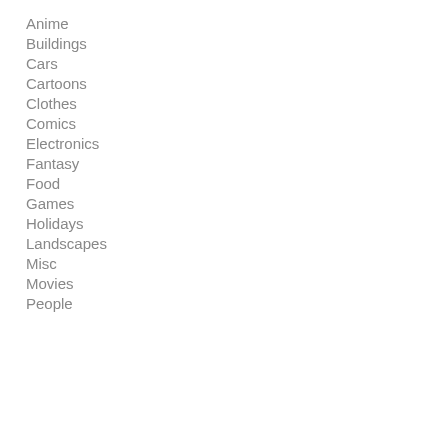Anime
Buildings
Cars
Cartoons
Clothes
Comics
Electronics
Fantasy
Food
Games
Holidays
Landscapes
Misc
Movies
People